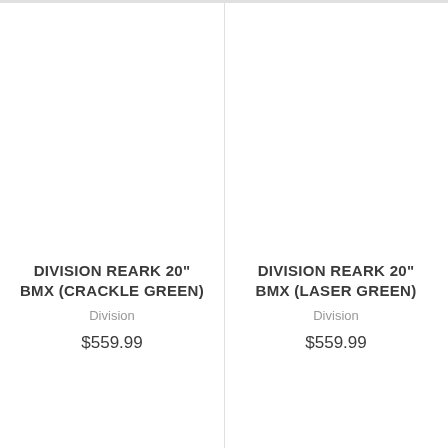DIVISION REARK 20" BMX (CRACKLE GREEN)
Division
$559.99
DIVISION REARK 20" BMX (LASER GREEN)
Division
$559.99